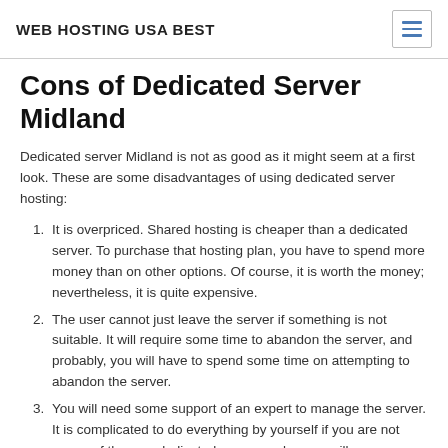WEB HOSTING USA BEST
Cons of Dedicated Server Midland
Dedicated server Midland is not as good as it might seem at a first look. These are some disadvantages of using dedicated server hosting:
It is overpriced. Shared hosting is cheaper than a dedicated server. To purchase that hosting plan, you have to spend more money than on other options. Of course, it is worth the money; nevertheless, it is quite expensive.
The user cannot just leave the server if something is not suitable. It will require some time to abandon the server, and probably, you will have to spend some time on attempting to abandon the server.
You will need some support of an expert to manage the server. It is complicated to do everything by yourself if you are not aware of the way dedicated server works, you will